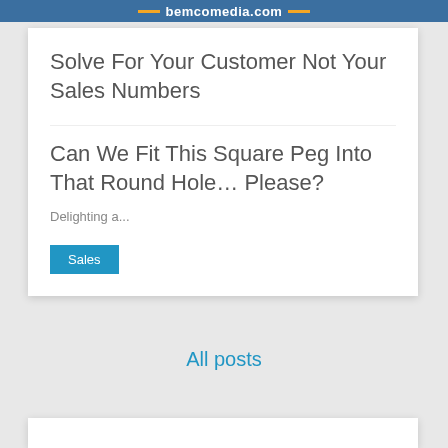bemcomedia.com
Solve For Your Customer Not Your Sales Numbers
Can We Fit This Square Peg Into That Round Hole… Please?
Delighting a...
Sales
All posts